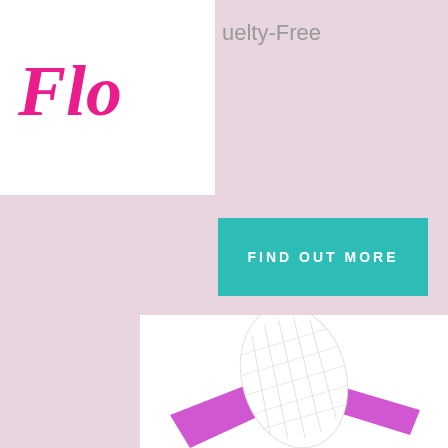[Figure (logo): Flo brand logo in pink italic script on white background]
uelty-Free
[Figure (other): Teal/turquoise button with text FIND OUT MORE in white bold capital letters]
[Figure (photo): Flo sanitary pad product photo on white background showing white pad with pink/magenta wings spread out]